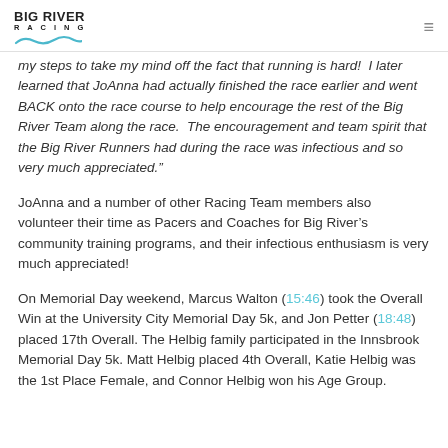BIG RIVER RACING
my steps to take my mind off the fact that running is hard!  I later learned that JoAnna had actually finished the race earlier and went BACK onto the race course to help encourage the rest of the Big River Team along the race.  The encouragement and team spirit that the Big River Runners had during the race was infectious and so very much appreciated.”
JoAnna and a number of other Racing Team members also volunteer their time as Pacers and Coaches for Big River’s community training programs, and their infectious enthusiasm is very much appreciated!
On Memorial Day weekend, Marcus Walton (15:46) took the Overall Win at the University City Memorial Day 5k, and Jon Petter (18:48) placed 17th Overall. The Helbig family participated in the Innsbrook Memorial Day 5k. Matt Helbig placed 4th Overall, Katie Helbig was the 1st Place Female, and Connor Helbig won his Age Group.